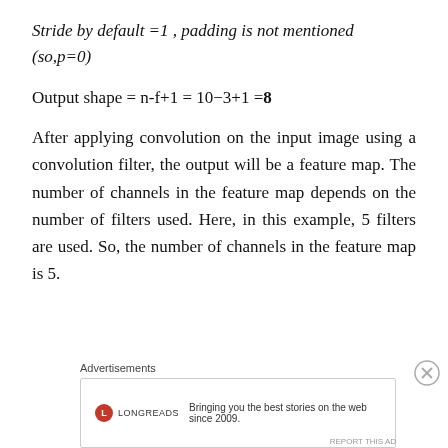Stride by default =1 , padding is not mentioned (so,p=0)
After applying convolution on the input image using a convolution filter, the output will be a feature map. The number of channels in the feature map depends on the number of filters used. Here, in this example, 5 filters are used. So, the number of channels in the feature map is 5.
Advertisements
[Figure (other): Longreads advertisement banner: logo with red circle and 'L', text 'LONGREADS', tagline 'Bringing you the best stories on the web since 2009.']